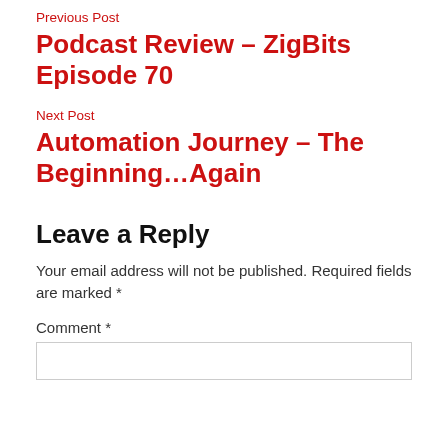Previous Post
Podcast Review – ZigBits Episode 70
Next Post
Automation Journey – The Beginning…Again
Leave a Reply
Your email address will not be published. Required fields are marked *
Comment *